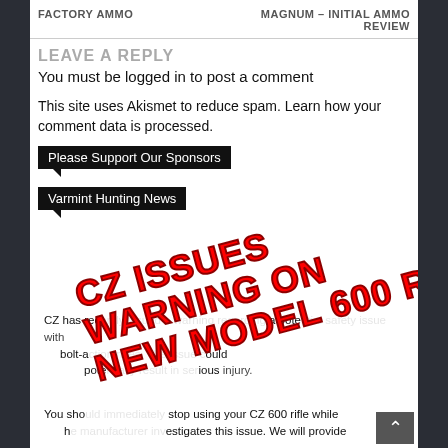FACTORY AMMO | MAGNUM – INITIAL AMMO REVIEW
LEAVE A REPLY
You must be logged in to post a comment
This site uses Akismet to reduce spam. Learn how your comment data is processed.
Please Support Our Sponsors
Varmint Hunting News
[Figure (other): Red bold diagonal text overlay reading CZ ISSUES WARNING ON NEW MODEL 600 RIFLES over a news article card about CZ issuing a warning on Model 600 rifles, with partial article text visible underneath.]
CZ has rec... a pote... with bolt-action...ould pote...jury. You sho...stop using your CZ 600 rifle while h...estigates this issue. We will provide